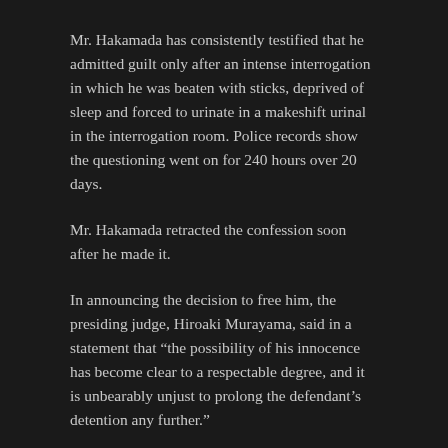Mr. Hakamada has consistently testified that he admitted guilt only after an intense interrogation in which he was beaten with sticks, deprived of sleep and forced to urinate in a makeshift urinal in the interrogation room. Police records show the questioning went on for 240 hours over 20 days.
Mr. Hakamada retracted the confession soon after he made it.
In announcing the decision to free him, the presiding judge, Hiroaki Murayama, said in a statement that “the possibility of his innocence has become clear to a respectable degree, and it is unbearably unjust to prolong the defendant’s detention any further.”
Japan’s criminal justice system has come under increasing scrutiny over the past decade, after a number of high-profile cases seemed to point to miscarriages of